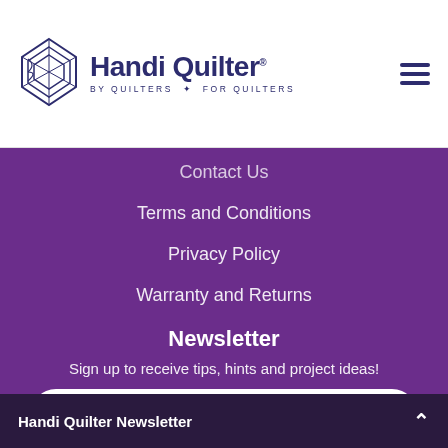[Figure (logo): Handi Quilter logo with diamond quilting pattern icon and text 'Handi Quilter BY QUILTERS FOR QUILTERS']
Contact Us
Terms and Conditions
Privacy Policy
Warranty and Returns
Newsletter
Sign up to receive tips, hints and project ideas!
What's your email
SUBSCRIBE
Handi Quilter Newsletter